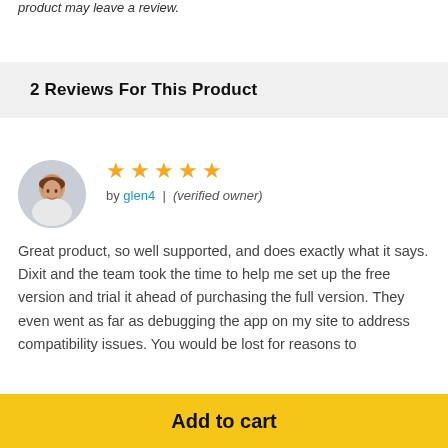product may leave a review.
2 Reviews For This Product
[Figure (photo): Circular avatar photo of a smiling man in a light shirt]
★★★★★
by glen4 | (verified owner)
Great product, so well supported, and does exactly what it says. Dixit and the team took the time to help me set up the free version and trial it ahead of purchasing the full version. They even went as far as debugging the app on my site to address compatibility issues. You would be lost for reasons to...
Add to cart